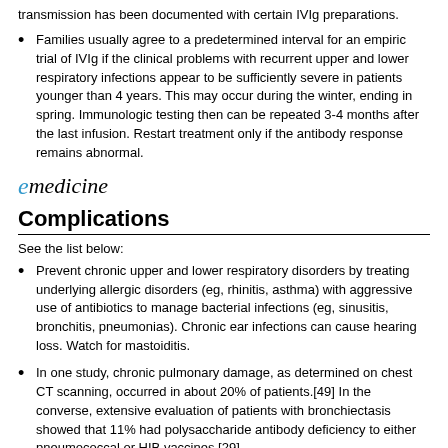transmission has been documented with certain IVIg preparations.
Families usually agree to a predetermined interval for an empiric trial of IVIg if the clinical problems with recurrent upper and lower respiratory infections appear to be sufficiently severe in patients younger than 4 years. This may occur during the winter, ending in spring. Immunologic testing then can be repeated 3-4 months after the last infusion. Restart treatment only if the antibody response remains abnormal.
[Figure (logo): eMedicine logo with stylized italic e in teal/blue color followed by 'medicine' in black italic serif font]
Complications
See the list below:
Prevent chronic upper and lower respiratory disorders by treating underlying allergic disorders (eg, rhinitis, asthma) with aggressive use of antibiotics to manage bacterial infections (eg, sinusitis, bronchitis, pneumonias). Chronic ear infections can cause hearing loss. Watch for mastoiditis.
In one study, chronic pulmonary damage, as determined on chest CT scanning, occurred in about 20% of patients.[49] In the converse, extensive evaluation of patients with bronchiectasis showed that 11% had polysaccharide antibody deficiency to either pneumococcal or HIB vaccines.[29]
No good studies have been conducted to examine the potential benefits of prophylactic antibiotics, given systemically or topically (ie,